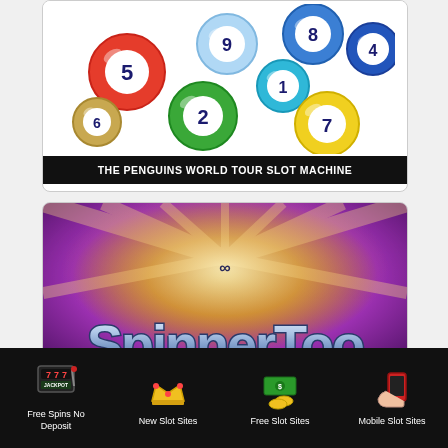[Figure (illustration): Colorful lottery balls with numbers 5, 9, 8, 4, 1, 2, 7, 6 scattered on white background]
THE PENGUINS WORLD TOUR SLOT MACHINE
[Figure (illustration): SpinnerToo slot game logo on purple and gold burst background]
Free Spins No Deposit
New Slot Sites
Free Slot Sites
Mobile Slot Sites